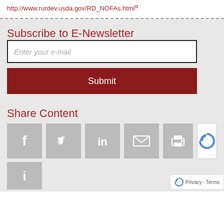http://www.rurdev.usda.gov/RD_NOFAs.html
Subscribe to E-Newsletter
Enter your e-mail
Submit
Share Content
[Figure (infographic): Social sharing icons: Facebook, Twitter, LinkedIn, Email/Envelope, Print, and a partially visible additional icon at the bottom row. reCAPTCHA Privacy-Terms badge in the corner.]